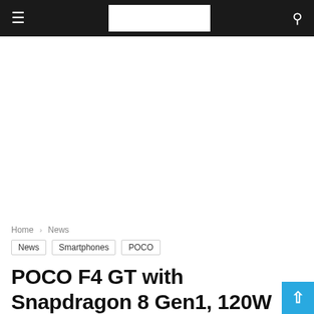≡  [logo]  🔍
[Figure (other): Advertisement / blank white space area below the navigation bar]
Home › News
News
Smartphones
POCO
POCO F4 GT with Snapdragon 8 Gen1, 120W fast charging